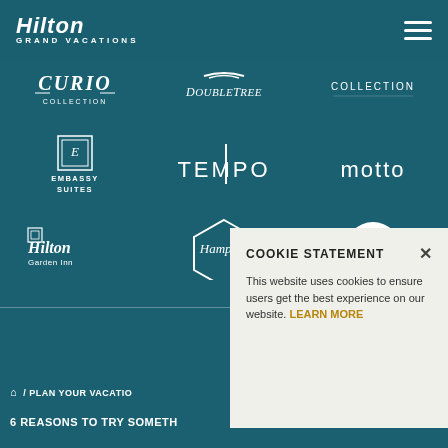Hilton Grand Vacations
[Figure (logo): Curio Collection logo]
[Figure (logo): DoubleTree logo]
[Figure (logo): Collection logo]
[Figure (logo): Embassy Suites logo]
[Figure (logo): Tempo logo]
[Figure (logo): Motto logo]
[Figure (logo): Hilton Garden Inn logo]
[Figure (logo): Hampton logo]
[Figure (logo): Tru logo]
[Figure (logo): Homewood Suites logo]
[Figure (logo): Home2 Suites logo]
[Figure (logo): Hilton Grand Vacations logo]
COOKIE STATEMENT
This website uses cookies to ensure users get the best experience on our website. LEARN MORE
🏠 / PLAN YOUR VACATIO
6 REASONS TO TRY SOMETH